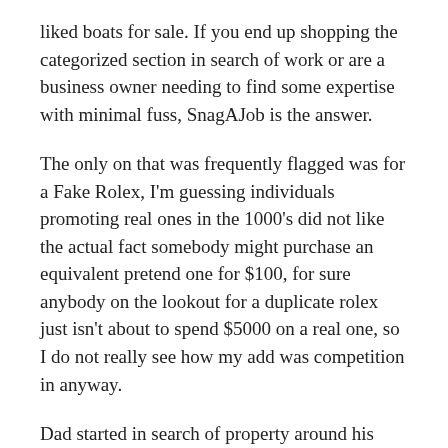liked boats for sale. If you end up shopping the categorized section in search of work or are a business owner needing to find some expertise with minimal fuss, SnagAJob is the answer.
The only on that was frequently flagged was for a Fake Rolex, I'm guessing individuals promoting real ones in the 1000's did not like the actual fact somebody might purchase an equivalent pretend one for $100, for sure anybody on the lookout for a duplicate rolex just isn't about to spend $5000 on a real one, so I do not really see how my add was competition in anyway.
Dad started in search of property around his present home, because it hadn't been bought over there, he might as properly bring it over right here to sell it. He lastly found the right piece of